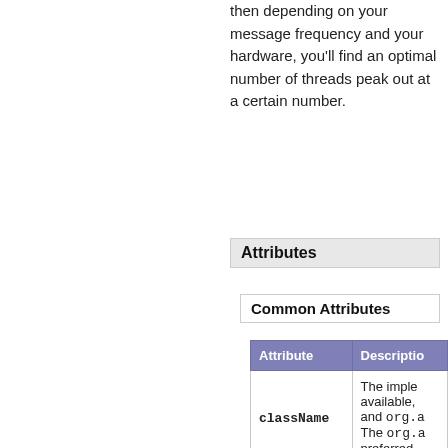then depending on your message frequency and your hardware, you'll find an optimal number of threads peak out at a certain number.
Attributes
Common Attributes
| Attribute | Description |
| --- | --- |
| className | The imple available, and org.a The org.a preferred |
| address | The addre bind addr java.net |
| direct | Possible v use direct |